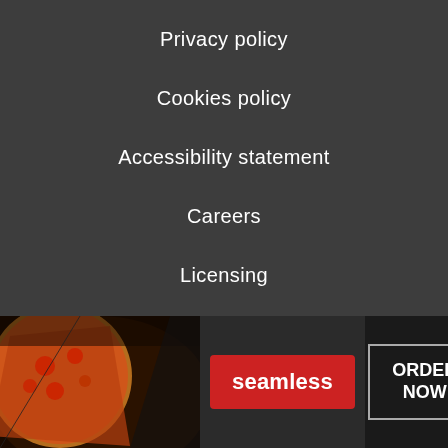Privacy policy
Cookies policy
Accessibility statement
Careers
Licensing
External links disclosure
About us
Newsletter
Advertising inquiries
[Figure (infographic): Seamless food ordering advertisement banner with pizza image on the left, red Seamless logo button in the center, and ORDER NOW button on the right with a close (x) button]